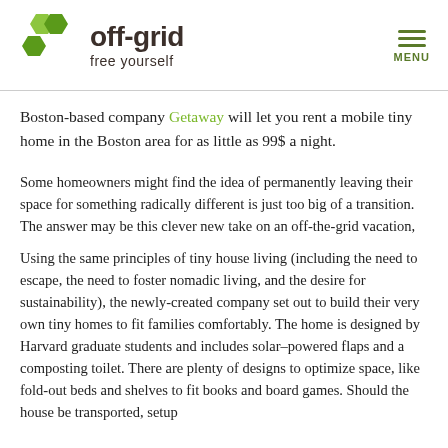off-grid free yourself [MENU]
Boston-based company Getaway will let you rent a mobile tiny home in the Boston area for as little as 99$ a night.
Some homeowners might find the idea of permanently leaving their space for something radically different is just too big of a transition. The answer may be this clever new take on an off-the-grid vacation,
Using the same principles of tiny house living (including the need to escape, the need to foster nomadic living, and the desire for sustainability), the newly-created company set out to build their very own tiny homes to fit families comfortably. The home is designed by Harvard graduate students and includes solar–powered flaps and a composting toilet. There are plenty of designs to optimize space, like fold-out beds and shelves to fit books and board games. Should the house be transported, setup